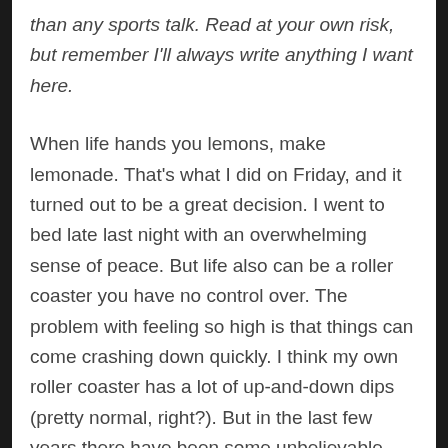than any sports talk. Read at your own risk, but remember I'll always write anything I want here.
When life hands you lemons, make lemonade. That's what I did on Friday, and it turned out to be a great decision. I went to bed late last night with an overwhelming sense of peace. But life also can be a roller coaster you have no control over. The problem with feeling so high is that things can come crashing down quickly. I think my own roller coaster has a lot of up-and-down dips (pretty normal, right?). But in the last few years there have been some unbelievable high points that were met almost immediately with a huge drop. As if the universe didn't want me to enjoy my position in life for even a day or two before something terrible came up.